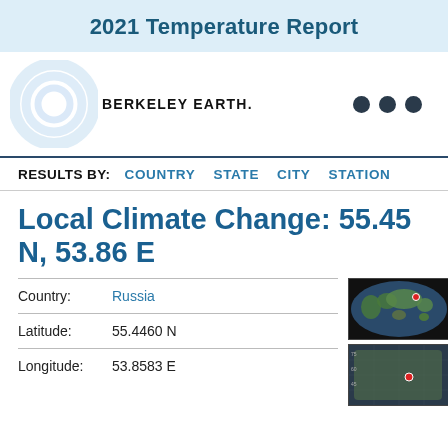2021 Temperature Report
[Figure (logo): Berkeley Earth logo: concentric light blue circle rings with text BERKELEY EARTH.]
RESULTS BY:  COUNTRY  STATE  CITY  STATION
Local Climate Change: 55.45 N, 53.86 E
|  |  |
| --- | --- |
| Country: | Russia |
| Latitude: | 55.4460 N |
| Longitude: | 53.8583 E |
[Figure (map): World map with red dot marker indicating location in Russia]
[Figure (map): Regional map zoomed in showing location in Russia with red dot marker]